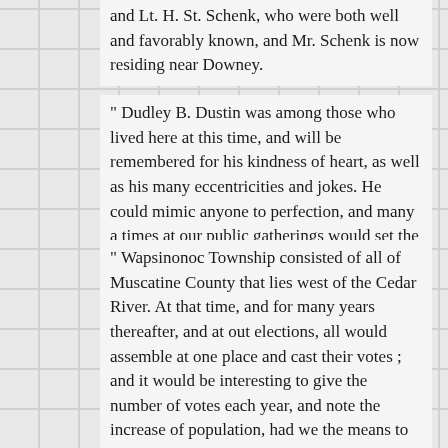and Lt. H. St. Schenk, who were both well and favorably known, and Mr. Schenk is now residing near Downey.
" Dudley B. Dustin was among those who lived here at this time, and will be remembered for his kindness of heart, as well as his many eccentricities and jokes. He could mimic anyone to perfection, and many a times at our public gatherings would set the crowd in a perfect roar of laughter at the expense of some unlucky neighbor.
" Wapsinonoc Township consisted of all of Muscatine County that lies west of the Cedar River. At that time, and for many years thereafter, and at out elections, all would assemble at one place and cast their votes ; and it would be interesting to give the number of votes each year, and note the increase of population, had we the means to do so.
" At this time of excitement in regard to the Railroad Bond question, a history of the west part of this county, and the important stand taken by the inhabitants of Wapsinonoc Township on the vote of the county to take stock, will not be devoid of interest.